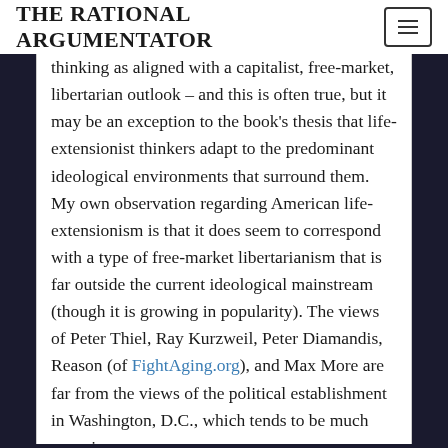THE RATIONAL ARGUMENTATOR
thinking as aligned with a capitalist, free-market, libertarian outlook – and this is often true, but it may be an exception to the book's thesis that life-extensionist thinkers adapt to the predominant ideological environments that surround them. My own observation regarding American life-extensionism is that it does seem to correspond with a type of free-market libertarianism that is far outside the current ideological mainstream (though it is growing in popularity). The views of Peter Thiel, Ray Kurzweil, Peter Diamandis, Reason (of FightAging.org), and Max More are far from the views of the political establishment in Washington, D.C., which tends to be much more in